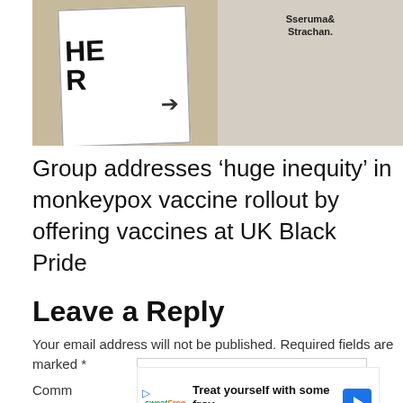[Figure (photo): Photo of people at UK Black Pride event: on the left a sign reading 'HER' with an arrow, on the right a person wearing a white t-shirt reading 'Sseruma & Strachan.']
Group addresses ‘huge inequity’ in monkeypox vaccine rollout by offering vaccines at UK Black Pride
Leave a Reply
Your email address will not be published. Required fields are marked *
Comm
[Figure (other): Advertisement overlay: sweetFrog logo, text 'Treat yourself with some froy', brand name 'sweetFrog', blue diamond navigation icon, play and close buttons below.]